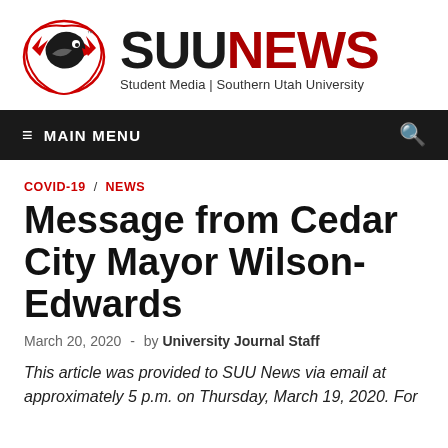[Figure (logo): SUU News logo with eagle mascot and text 'SUUNEWS Student Media | Southern Utah University']
≡ MAIN MENU
COVID-19 / NEWS
Message from Cedar City Mayor Wilson-Edwards
March 20, 2020 - by University Journal Staff
This article was provided to SUU News via email at approximately 5 p.m. on Thursday, March 19, 2020. For